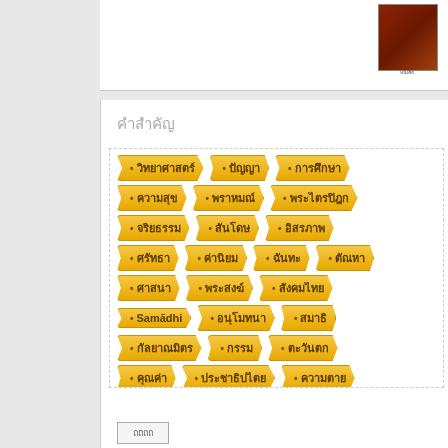[Figure (illustration): Book thumbnail image showing a dark reddish-brown book cover]
คำสำคัญ
วิทยาศาสตร์
ปัญญา
การศึกษา
ความสุข
พราหมณ์
พระไตรปิฎก
จริยธรรม
สันโดษ
อิสรภาพ
ศรัทธา
ค่านิยม
ฉันทะ
ตัณหา
ศาสนา
พระสงฆ์
สังคมไทย
Samādhi
อนุโมทนา
สมาธิ
กัลยาณมิตร
กรรม
ตะวันตก
คุณค่า
ประชาธิปไตย
ความตาย
พิธีกรรม
สังคม
วินัย
สถาบันสงฆ์
บุญ
ปฏิจจสมุปบาท
พุทธศาสนา